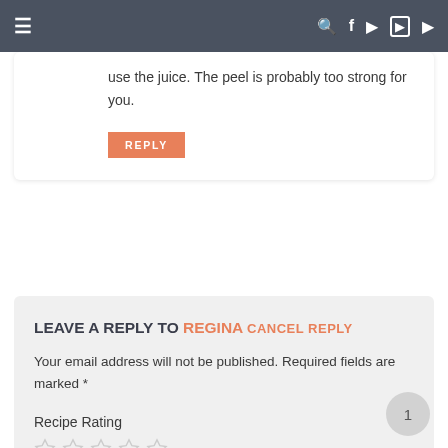≡  🔍 f 📷 p ▶
use the juice. The peel is probably too strong for you.
REPLY
LEAVE A REPLY TO REGINA CANCEL REPLY
Your email address will not be published. Required fields are marked *
Recipe Rating